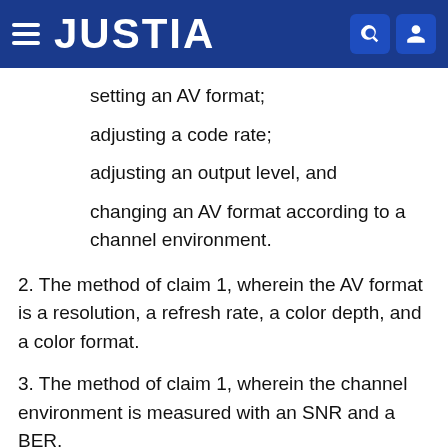JUSTIA
setting an AV format;
adjusting a code rate;
adjusting an output level, and
changing an AV format according to a channel environment.
2. The method of claim 1, wherein the AV format is a resolution, a refresh rate, a color depth, and a color format.
3. The method of claim 1, wherein the channel environment is measured with an SNR and a BER.
4. The method of claim 3, when the channel environment is improved above the SNR limit or below the BER limit, the method and modulation is...